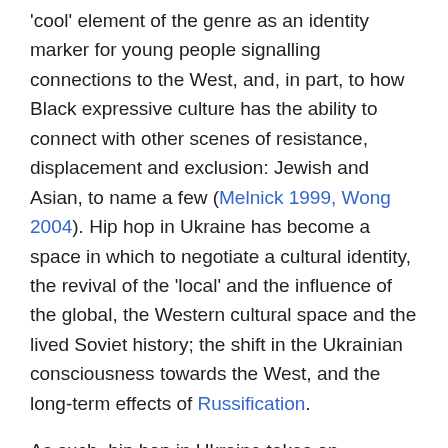'cool' element of the genre as an identity marker for young people signalling connections to the West, and, in part, to how Black expressive culture has the ability to connect with other scenes of resistance, displacement and exclusion: Jewish and Asian, to name a few (Melnick 1999, Wong 2004). Hip hop in Ukraine has become a space in which to negotiate a cultural identity, the revival of the 'local' and the influence of the global, the Western cultural space and the lived Soviet history; the shift in the Ukrainian consciousness towards the West, and the long-term effects of Russification.
As such, hip hop in Ukraine takes on interesting aesthetic qualities, resulting in the 'angry folk rap' (Hansen 2019) of the Dakh Daughters, or The Kalush Orchestra, the folk rap group representing Ukraine in the 2022 Eurovision Song